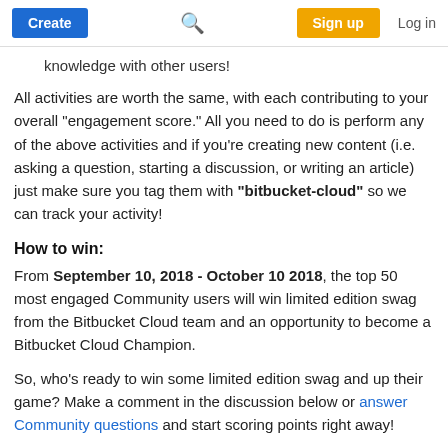Create | [search] | Sign up | Log in
knowledge with other users!
All activities are worth the same, with each contributing to your overall "engagement score." All you need to do is perform any of the above activities and if you're creating new content (i.e. asking a question, starting a discussion, or writing an article) just make sure you tag them with "bitbucket-cloud" so we can track your activity!
How to win:
From September 10, 2018 - October 10 2018, the top 50 most engaged Community users will win limited edition swag from the Bitbucket Cloud team and an opportunity to become a Bitbucket Cloud Champion.
So, who's ready to win some limited edition swag and up their game? Make a comment in the discussion below or answer Community questions and start scoring points right away!
On your marks. Get set. Go!